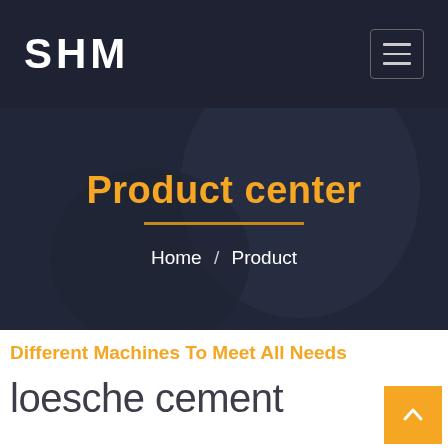SHM
Product center
Home / Product
Different Machines To Meet All Needs
loesche cement